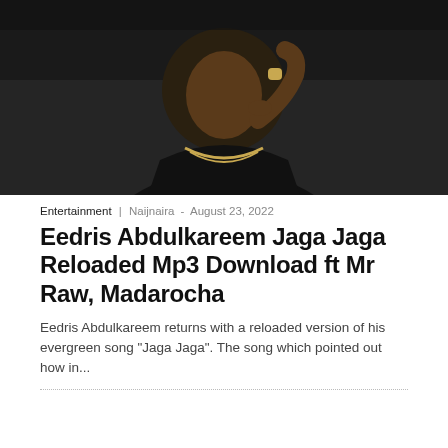[Figure (photo): A man in a dark hoodie with gold chain jewelry holding his finger to his lips in a shushing gesture, photographed from chest up against a dark background.]
Entertainment | Naijnaira - August 23, 2022
Eedris Abdulkareem Jaga Jaga Reloaded Mp3 Download ft Mr Raw, Madarocha
Eedris Abdulkareem returns with a reloaded version of his evergreen song "Jaga Jaga". The song which pointed out how in...
[Figure (photo): A person holding a smartphone showing a sports betting app with a football field visible on a laptop screen in the background.]
Sports
It's another Football Season! Here are a few tips to bet responsibly
Naijnaira - August 23, 2022